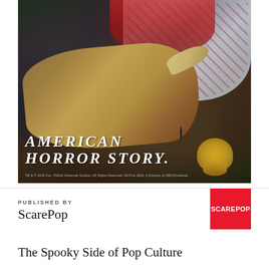[Figure (photo): Promotional image for American Horror Story showing a monstrous clawed hand holding a golden skull, with a bloodied clown costume visible in the background. White text overlay reads 'AMERICAN HORROR STORY' in stylized italic font. Fine print at bottom left with copyright/trademark text.]
PUBLISHED BY
ScarePop
[Figure (logo): ScarePop logo: white text 'SCAREPOP' on a red square background.]
The Spooky Side of Pop Culture